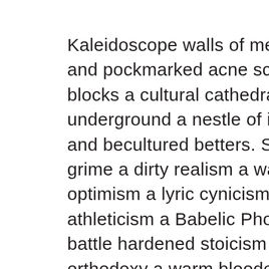Kaleidoscope walls of melted mascara and pockmarked acne scars on breeze blocks a cultural cathedral a cant of the underground a nestle of invested bettors and becultured betters. St. Michael's grime a dirty realism a wait-and-see optimism a lyric cynicism an aged athleticism a Babelic Phoenicianism a battle hardened stoicism a war battered orthodoxy a warm blooded equinox a severed phalange pointing at where may be stars in the smoggy woolen sky a divine desire flitting a stone's throw to Varouj's alleys a long shot to Abou Jamil's wadi a squinty-eyed skeptic sitting surly and spitting out the